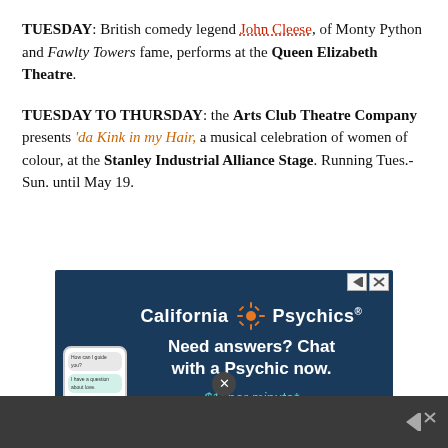TUESDAY: British comedy legend John Cleese, of Monty Python and Fawlty Towers fame, performs at the Queen Elizabeth Theatre.
TUESDAY TO THURSDAY: the Arts Club Theatre Company presents 'da Kink in my Hair, a musical celebration of women of colour, at the Stanley Industrial Alliance Stage. Running Tues.-Sun. until May 19.
[Figure (other): California Psychics advertisement with dark blue background. Header: 'California Psychics®'. Body text: 'Need answers? Chat with a Psychic now.' Promo: '$1/ per minute* for new customers'. A phone mockup showing chat bubbles is shown on the left side.]